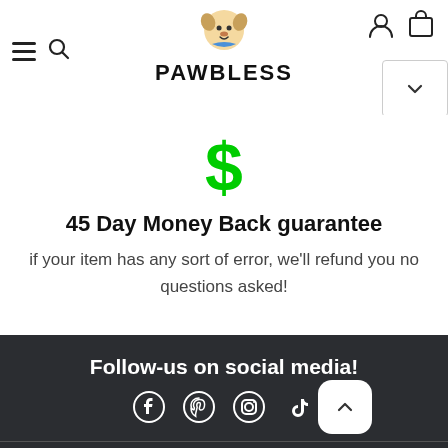PAWBLESS
[Figure (illustration): Green dollar sign icon above guarantee text]
45 Day Money Back guarantee
if your item has any sort of error, we'll refund you no questions asked!
Follow-us on social media!
[Figure (illustration): Social media icons: Facebook, Pinterest, Instagram, TikTok]
Customer Care
About Us